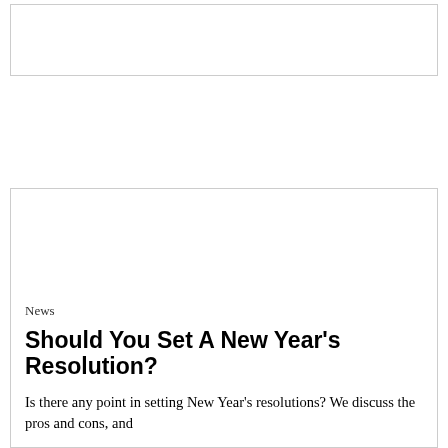[Figure (other): Top advertisement or image placeholder box, outlined with border, white interior]
[Figure (other): Large article featured image placeholder box, outlined with border, white interior]
News
Should You Set A New Year’s Resolution?
Is there any point in setting New Year’s resolutions? We discuss the pros and cons, and